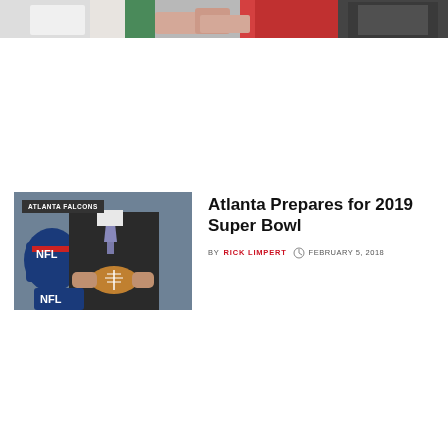[Figure (photo): Top strip showing two cropped photos: left shows hands/clothing of people in athletic/casual wear, right shows a dark-clad figure]
[Figure (photo): Thumbnail image of a person in a suit holding an NFL football at what appears to be an Atlanta Falcons event, with an ATLANTA FALCONS tag overlay]
Atlanta Prepares for 2019 Super Bowl
BY RICK LIMPERT  FEBRUARY 5, 2018